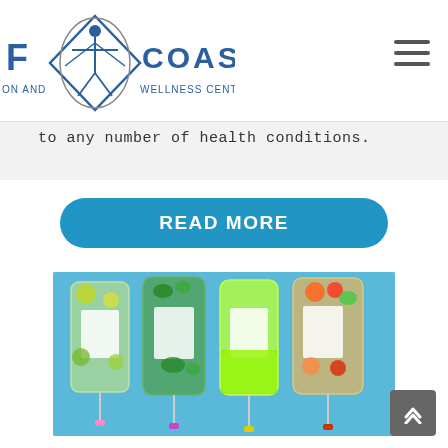[Figure (logo): Gulf Coast Nutrition and Wellness Center, Inc. logo with Vitruvian man in diamond/circle shape, blue and gray text]
to any number of health conditions.
READ MORE
[Figure (photo): Four IV drip bags filled with colorful fruits and vegetables on a blue background — citrus slices, green vegetables, bright green liquid, and mixed tropical fruits]
[Figure (other): Back to top chevron button, dark gray square with upward arrow]